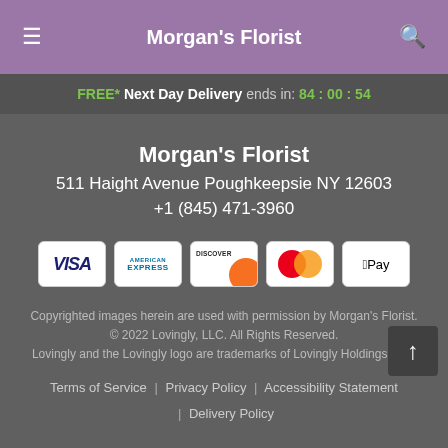Morgan's Florist
FREE* Next Day Delivery ends in: 84:00:54
Morgan's Florist
511 Haight Avenue Poughkeepsie NY 12603
+1 (845) 471-3960
[Figure (other): Payment method icons: Visa, American Express, Discover, Mastercard, Apple Pay]
Copyrighted images herein are used with permission by Morgan's Florist.
© 2022 Lovingly, LLC. All Rights Reserved.
Lovingly and the Lovingly logo are trademarks of Lovingly Holdings, LLC
Terms of Service | Privacy Policy | Accessibility Statement | Delivery Policy